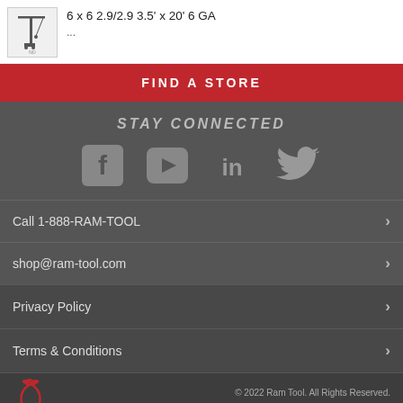[Figure (illustration): Construction crane icon with 'NO IMAGE' placeholder text]
6 x 6 2.9/2.9 3.5' x 20' 6 GA
...
FIND A STORE
STAY CONNECTED
[Figure (illustration): Social media icons: Facebook, YouTube, LinkedIn, Twitter]
Call 1-888-RAM-TOOL
shop@ram-tool.com
Privacy Policy
Terms & Conditions
© 2022 Ram Tool. All Rights Reserved.